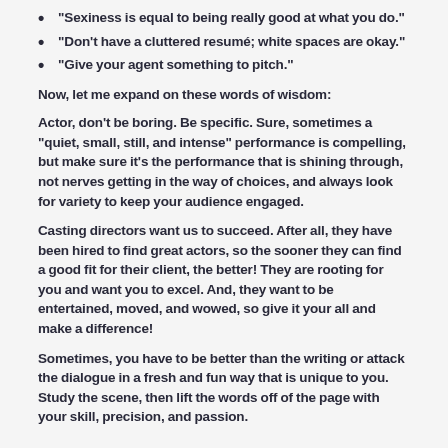“Sexiness is equal to being really good at what you do.”
“Don’t have a cluttered resumé; white spaces are okay.”
“Give your agent something to pitch.”
Now, let me expand on these words of wisdom:
Actor, don’t be boring. Be specific. Sure, sometimes a “quiet, small, still, and intense” performance is compelling, but make sure it’s the performance that is shining through, not nerves getting in the way of choices, and always look for variety to keep your audience engaged.
Casting directors want us to succeed. After all, they have been hired to find great actors, so the sooner they can find a good fit for their client, the better! They are rooting for you and want you to excel. And, they want to be entertained, moved, and wowed, so give it your all and make a difference!
Sometimes, you have to be better than the writing or attack the dialogue in a fresh and fun way that is unique to you. Study the scene, then lift the words off of the page with your skill, precision, and passion.